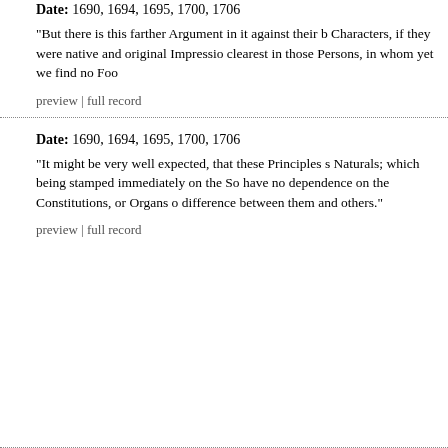Date: 1690, 1694, 1695, 1700, 1706
"But there is this farther Argument in it against their b Characters, if they were native and original Impressio clearest in those Persons, in whom yet we find no Foo
preview | full record
Date: 1690, 1694, 1695, 1700, 1706
"It might be very well expected, that these Principles s Naturals; which being stamped immediately on the So have no dependence on the Constitutions, or Organs o difference between them and others."
preview | full record